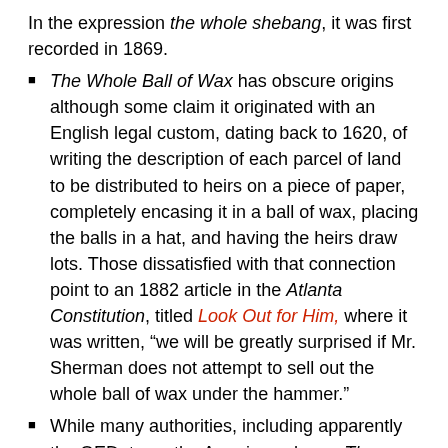In the expression the whole shebang, it was first recorded in 1869.
The Whole Ball of Wax has obscure origins although some claim it originated with an English legal custom, dating back to 1620, of writing the description of each parcel of land to be distributed to heirs on a piece of paper, completely encasing it in a ball of wax, placing the balls in a hat, and having the heirs draw lots. Those dissatisfied with that connection point to an 1882 article in the Atlanta Constitution, titled Look Out for Him, where it was written, “we will be greatly surprised if Mr. Sherman does not attempt to sell out the whole ball of wax under the hammer.”
While many authorities, including apparently the OED, trace the American phrase The Whole Shooting Match (meaning everything of a collection) to 1896, earlier examples of the expression have